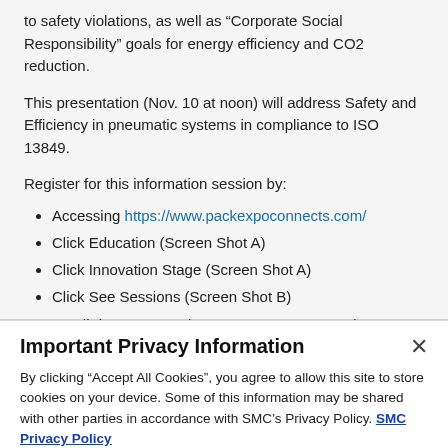to safety violations, as well as “Corporate Social Responsibility” goals for energy efficiency and CO2 reduction.
This presentation (Nov. 10 at noon) will address Safety and Efficiency in pneumatic systems in compliance to ISO 13849.
Register for this information session by:
Accessing https://www.packexpoconnects.com/
Click Education (Screen Shot A)
Click Innovation Stage (Screen Shot A)
Click See Sessions (Screen Shot B)
Scroll down to Tuesday, Nov 10 at 12:00 PM (Screen Shot C)
Important Privacy Information
By clicking “Accept All Cookies”, you agree to allow this site to store cookies on your device. Some of this information may be shared with other parties in accordance with SMC’s Privacy Policy. SMC Privacy Policy